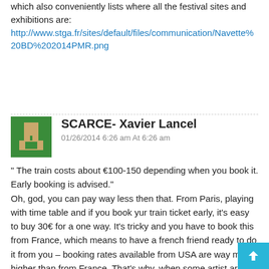which also conveniently lists where all the festival sites and exhibitions are:
http://www.stga.fr/sites/default/files/communication/Navette%20BD%202014PMR.png
SCARCE- Xavier Lancel
01/26/2014 6:26 am At 6:26 am
" The train costs about €100-150 depending when you book it. Early booking is advised." Oh, god, you can pay way less then that. From Paris, playing with time table and if you book yur train ticket early, it's easy to buy 30€ for a one way. It's tricky and you have to book this from France, which means to have a french friend ready to do it from you – booking rates available from USA are way much higher than from France. That's why, when some artist are invited at the SCARCE booth in Angouleme, I usually take care of the train tickets booking for them.